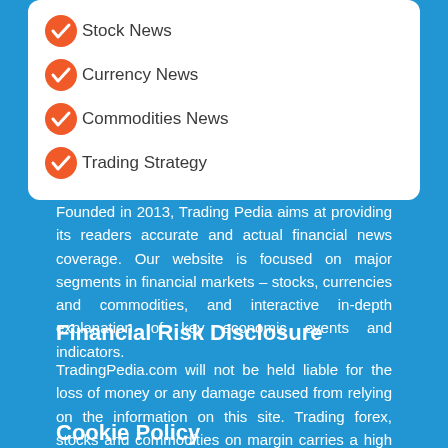Stock News
Currency News
Commodities News
Trading Strategy
Founded in 2013, Trading Pedia aims at providing its readers accurate and actual financial news coverage. Our website is focused on major segments in financial markets – stocks, currencies and commodities, and interactive in-depth explanation of key economic events and indicators.
Financial Risk Disclosure
TradingPedia.com will not be held liable for the loss of money or any damage caused from relying on the information on this site. Trading forex, stocks and commodities on margin carries a high level of risk and may not be suitable for all investors. Before deciding to trade foreign exchange you should carefully consider your investment objectives, level of experience and risk appetite.
Cookie Policy